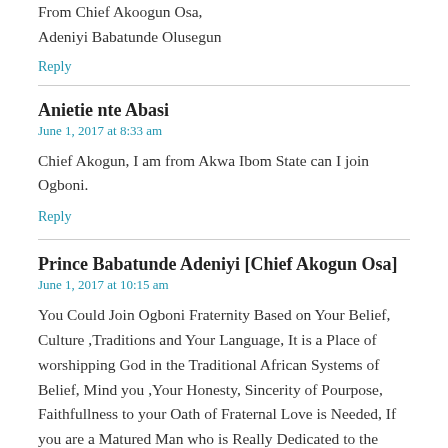From Chief Akoogun Osa,
Adeniyi Babatunde Olusegun
Reply
Anietie nte Abasi
June 1, 2017 at 8:33 am
Chief Akogun, I am from Akwa Ibom State can I join Ogboni.
Reply
Prince Babatunde Adeniyi [Chief Akogun Osa]
June 1, 2017 at 10:15 am
You Could Join Ogboni Fraternity Based on Your Belief, Culture ,Traditions and Your Language, It is a Place of worshipping God in the Traditional African Systems of Belief, Mind you ,Your Honesty, Sincerity of Pourpose, Faithfullness to your Oath of Fraternal Love is Needed, If you are a Matured Man who is Really Dedicated to the Goodwill and Fellowship of all Men, Their Welfare Kindly Come Forward for Your Initiation Procedure at